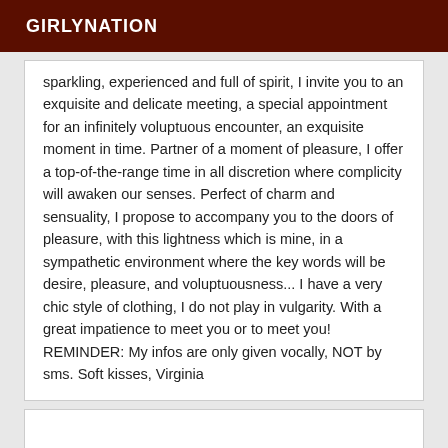GIRLYNATION
sparkling, experienced and full of spirit, I invite you to an exquisite and delicate meeting, a special appointment for an infinitely voluptuous encounter, an exquisite moment in time. Partner of a moment of pleasure, I offer a top-of-the-range time in all discretion where complicity will awaken our senses. Perfect of charm and sensuality, I propose to accompany you to the doors of pleasure, with this lightness which is mine, in a sympathetic environment where the key words will be desire, pleasure, and voluptuousness... I have a very chic style of clothing, I do not play in vulgarity. With a great impatience to meet you or to meet you! REMINDER: My infos are only given vocally, NOT by sms. Soft kisses, Virginia